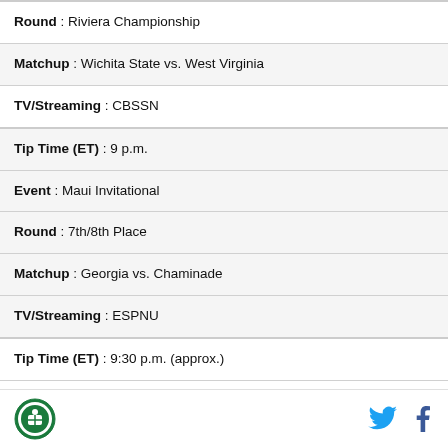| Round : Riviera Championship |
| Matchup : Wichita State vs. West Virginia |
| TV/Streaming : CBSSN |
| Tip Time (ET) : 9 p.m. |
| Event : Maui Invitational |
| Round : 7th/8th Place |
| Matchup : Georgia vs. Chaminade |
| TV/Streaming : ESPNU |
| Tip Time (ET) : 9:30 p.m. (approx.) |
| Event : Battle 4 Atlantis |
| Round : Quarterfinals |
Logo | Twitter | Facebook